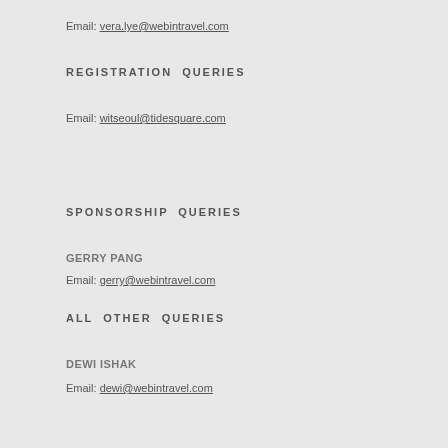Email: vera.lye@webintravel.com
REGISTRATION QUERIES
Email: witseoul@tidesquare.com
SPONSORSHIP QUERIES
GERRY PANG
Email: gerry@webintravel.com
ALL OTHER QUERIES
DEWI ISHAK
Email: dewi@webintravel.com